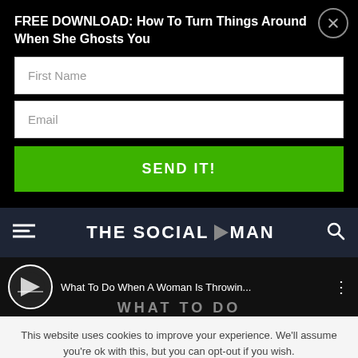FREE DOWNLOAD: How To Turn Things Around When She Ghosts You
[Figure (screenshot): Modal popup with email signup form on black background with close button, First Name and Email input fields, and green SEND IT! button]
[Figure (logo): The Social Man website navigation bar with hamburger menu, logo, and search icon on dark navy background]
[Figure (screenshot): Video bar showing What To Do When A Woman Is Throwin... with circular logo thumbnail and three-dot menu]
This website uses cookies to improve your experience. We'll assume you're ok with this, but you can opt-out if you wish.
Cookie Settings
Accept